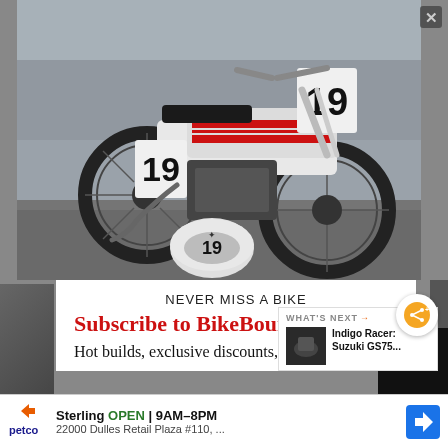[Figure (photo): Custom Yamaha flat tracker motorcycle number 19 in silver/white with red accents, parked on gravel with a matching helmet in front. Concrete wall background.]
NEVER MISS A BIKE
Subscribe to BikeBoun
Hot builds, exclusive discounts, no BS.
WHAT'S NEXT → Indigo Racer: Suzuki GS75...
Sterling OPEN | 9AM–8PM 22000 Dulles Retail Plaza #110, ...